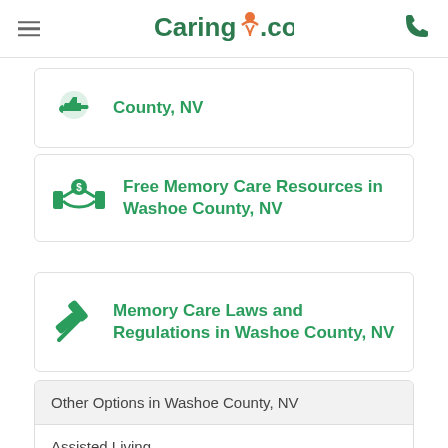Caring.com
County, NV
Free Memory Care Resources in Washoe County, NV
Memory Care Laws and Regulations in Washoe County, NV
| Other Options in Washoe County, NV |
| --- |
| Assisted Living |
| Home Care |